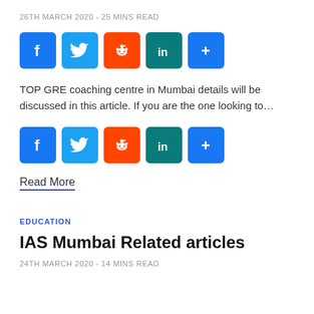26TH MARCH 2020 - 25 MINS READ
[Figure (infographic): Social share buttons: Facebook, Twitter, Reddit, LinkedIn, More]
TOP GRE coaching centre in Mumbai details will be discussed in this article. If you are the one looking to…
[Figure (infographic): Social share buttons: Facebook, Twitter, Reddit, LinkedIn, More]
Read More
EDUCATION
IAS Mumbai Related articles
24TH MARCH 2020 - 14 MINS READ